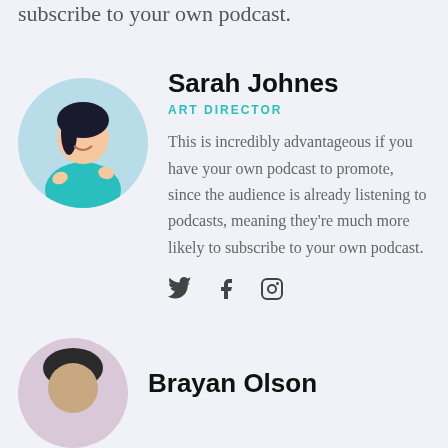subscribe to your own podcast.
[Figure (photo): Circular profile photo of Sarah Johnes, a woman in a teal top making finger-gun gestures and smiling/laughing]
Sarah Johnes
ART DIRECTOR
This is incredibly advantageous if you have your own podcast to promote, since the audience is already listening to podcasts, meaning they're much more likely to subscribe to your own podcast.
[Figure (infographic): Social media icons: Twitter bird, Facebook f, Instagram camera]
[Figure (photo): Circular profile photo of Brayan Olson, partially visible at bottom]
Brayan Olson